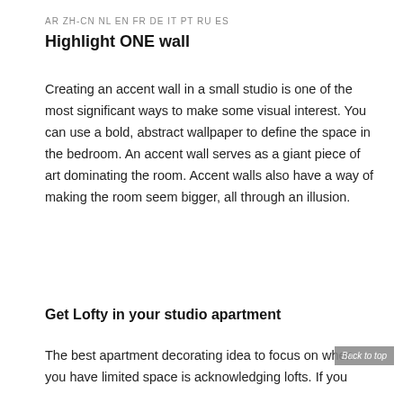AR ZH-CN NL EN FR DE IT PT RU ES
Highlight ONE wall
Creating an accent wall in a small studio is one of the most significant ways to make some visual interest. You can use a bold, abstract wallpaper to define the space in the bedroom. An accent wall serves as a giant piece of art dominating the room. Accent walls also have a way of making the room seem bigger, all through an illusion.
Get Lofty in your studio apartment
The best apartment decorating idea to focus on when you have limited space is acknowledging lofts. If you